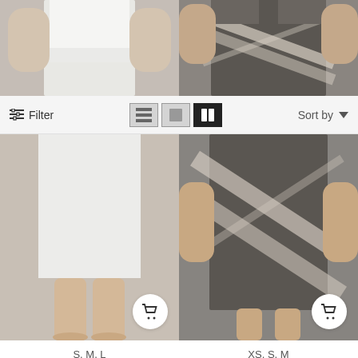[Figure (screenshot): Top strip showing two product photos: left is a white crop top/skirt set (torso/arms), right is a dark grey bandage cocktail dress (upper body)]
Filter
[Figure (screenshot): View toggle icons: list view, grid view (1-col), grid view (2-col, active/selected)]
Sort by
[Figure (photo): Product photo of Kiana Pearl Long Sleeve Set in White - showing lower body/skirt portion with cart button overlay]
S, M, L
Kiana Pearl Long Sleeve Set - White
$104.90
[Figure (photo): Product photo of Orianna Off Shoulder Cocktail Dress - showing grey bandage dress lower body with cart button overlay]
XS, S, M
Orianna Off Shoulder Cocktail Dress
$71.90
[Figure (photo): Loading placeholder card (left), partially visible]
[Figure (photo): Loading placeholder card (right), partially visible]